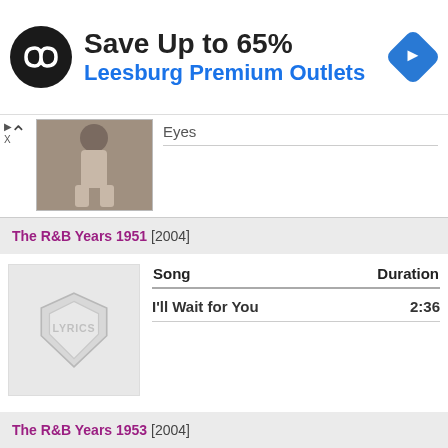[Figure (infographic): Advertisement banner: black circular logo with infinity/loop symbol, text 'Save Up to 65%' and 'Leesburg Premium Outlets', blue navigation diamond icon on right]
Eyes
[Figure (photo): Partial sepia-toned photo of a person standing, cropped at top]
The R&B Years 1951 [2004]
[Figure (logo): Gray LYRICS shield/badge logo placeholder for album art]
| Song | Duration |
| --- | --- |
| I'll Wait for You | 2:36 |
The R&B Years 1953 [2004]